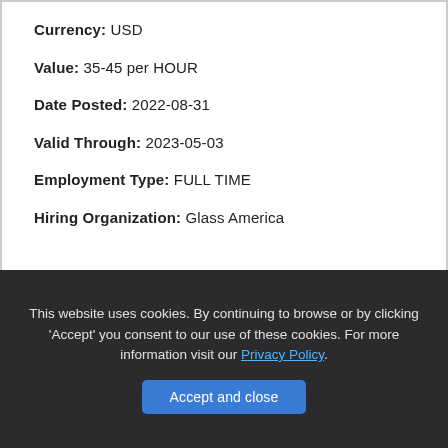Currency: USD
Value: 35-45 per HOUR
Date Posted: 2022-08-31
Valid Through: 2023-05-03
Employment Type: FULL TIME
Hiring Organization: Glass America
This website uses cookies. By continuing to browse or by clicking 'Accept' you consent to our use of these cookies. For more information visit our Privacy Policy.
Accept and close